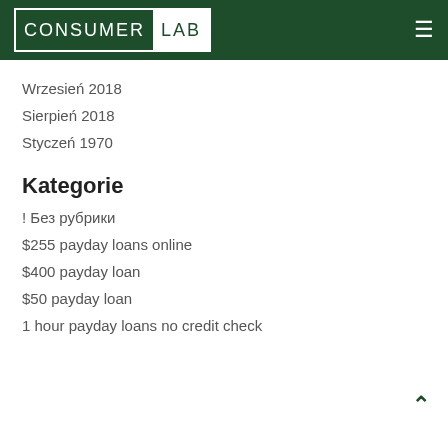Consumer Lab
Wrzesień 2018
Sierpień 2018
Styczeń 1970
Kategorie
! Без рубрики
$255 payday loans online
$400 payday loan
$50 payday loan
1 hour payday loans no credit check